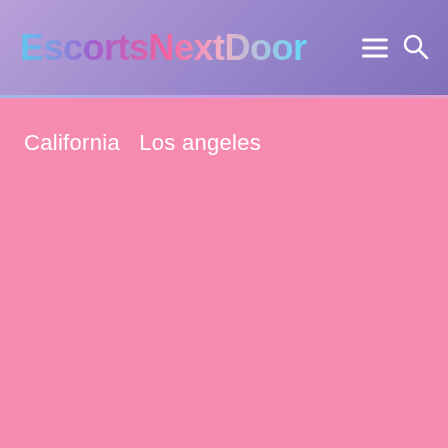EscortsNextDoor
California  Los angeles